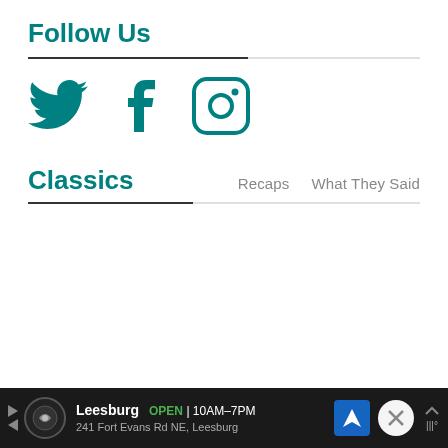Follow Us
[Figure (illustration): Three social media icons side by side: Twitter bird icon, Facebook 'f' icon, and Instagram camera icon, all in teal color]
Classics
Recaps   What They Said
[Figure (infographic): Advertisement bar: Leesburg store logo, OPEN 10AM-7PM, 241 Fort Evans Rd NE, Leesburg, with navigation arrow icon and close/weather controls]